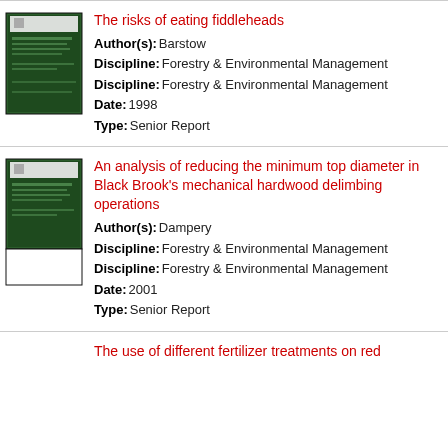[Figure (illustration): Green book cover thumbnail for 'The risks of eating fiddleheads']
The risks of eating fiddleheads
Author(s): Barstow
Discipline: Forestry & Environmental Management
Discipline: Forestry & Environmental Management
Date: 1998
Type: Senior Report
[Figure (illustration): Green book cover thumbnail for 'An analysis of reducing the minimum top diameter in Black Brook's mechanical hardwood delimbing operations']
An analysis of reducing the minimum top diameter in Black Brook's mechanical hardwood delimbing operations
Author(s): Dampery
Discipline: Forestry & Environmental Management
Discipline: Forestry & Environmental Management
Date: 2001
Type: Senior Report
The use of different fertilizer treatments on red